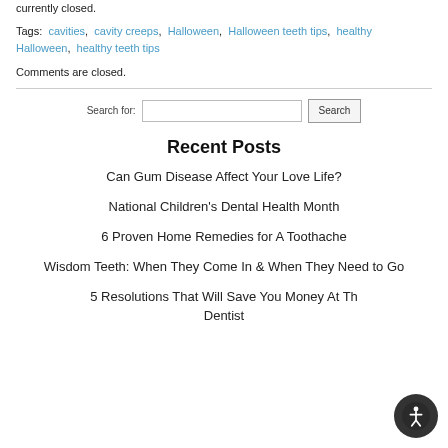currently closed.
Tags: cavities, cavity creeps, Halloween, Halloween teeth tips, healthy Halloween, healthy teeth tips
Comments are closed.
Search for: [input] Search
Recent Posts
Can Gum Disease Affect Your Love Life?
National Children's Dental Health Month
6 Proven Home Remedies for A Toothache
Wisdom Teeth: When They Come In & When They Need to Go
5 Resolutions That Will Save You Money At The Dentist